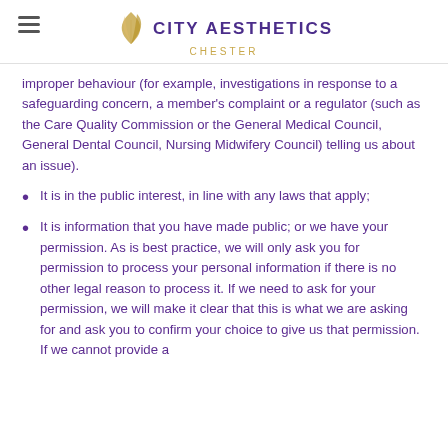CITY AESTHETICS CHESTER
improper behaviour (for example, investigations in response to a safeguarding concern, a member's complaint or a regulator (such as the Care Quality Commission or the General Medical Council, General Dental Council, Nursing Midwifery Council) telling us about an issue).
It is in the public interest, in line with any laws that apply;
It is information that you have made public; or we have your permission. As is best practice, we will only ask you for permission to process your personal information if there is no other legal reason to process it. If we need to ask for your permission, we will make it clear that this is what we are asking for and ask you to confirm your choice to give us that permission. If we cannot provide a